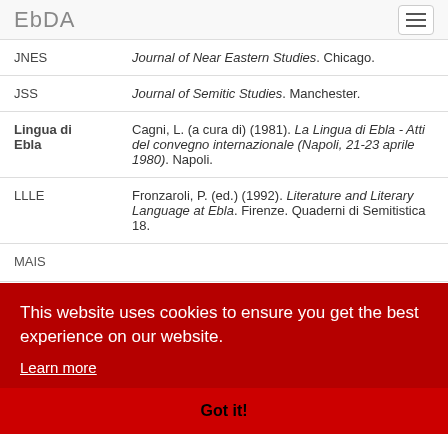EbDA
| Abbreviation | Reference |
| --- | --- |
| JNES | Journal of Near Eastern Studies. Chicago. |
| JSS | Journal of Semitic Studies. Manchester. |
| Lingua di Ebla | Cagni, L. (a cura di) (1981). La Lingua di Ebla - Atti del convegno internazionale (Napoli, 21-23 aprile 1980). Napoli. |
| LLLE | Fronzaroli, P. (ed.) (1992). Literature and Literary Language at Ebla. Firenze. Quaderni di Semitistica 18. |
| MAIS... | (partially visible) |
| MAIS... | (partially visible — (1965). Missione Archeologica Italiana in Siria: Rapporto preliminare della campagna 1965 (Tall...) |
This website uses cookies to ensure you get the best experience on our website. Learn more
Got it!